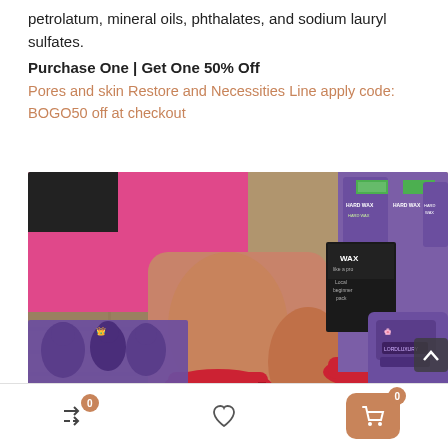petrolatum, mineral oils, phthalates, and sodium lauryl sulfates.
Purchase One | Get One 50% Off
Pores and skin Restore and Necessities Line apply code: BOGO50 off at checkout
[Figure (photo): Woman in pink dress with red high heels adjusting her shoe, with wax beauty products visible in the background including hard wax packages and a wax warmer. A purple promotional image overlay in the bottom left corner with 'You look gorgeous' text.]
Navigation bar with shuffle icon (badge 0), heart/wishlist icon, and cart icon (badge 0)